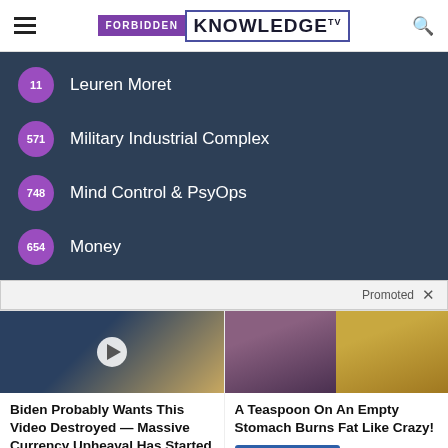FORBIDDEN KNOWLEDGE TV
11 Leuren Moret
571 Military Industrial Complex
748 Mind Control & PsyOps
654 Money
Promoted X
[Figure (screenshot): Video thumbnail showing man on TV set with play button overlay]
Biden Probably Wants This Video Destroyed — Massive Currency Upheaval Has Started
Watch The Video
[Figure (photo): Fitness woman and pile of spice/turmeric powder]
A Teaspoon On An Empty Stomach Burns Fat Like Crazy!
Find Out More